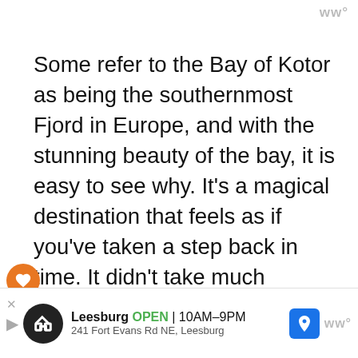ww°
Some refer to the Bay of Kotor as being the southernmost Fjord in Europe, and with the stunning beauty of the bay, it is easy to see why. It's a magical destination that feels as if you've taken a step back in time. It didn't take much convincing to get Tasha to return as we made our way north through the Balkans.
WHAT'S NEXT → 17 BEST Things To D...
Leesburg OPEN 10AM–9PM 241 Fort Evans Rd NE, Leesburg